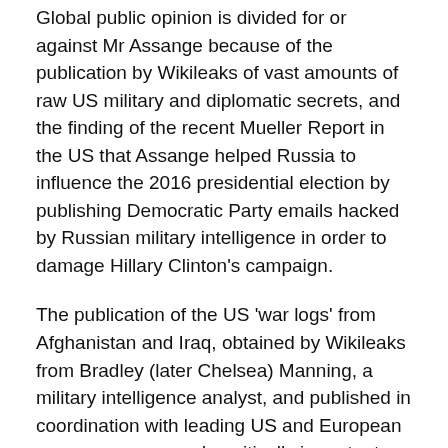Global public opinion is divided for or against Mr Assange because of the publication by Wikileaks of vast amounts of raw US military and diplomatic secrets, and the finding of the recent Mueller Report in the US that Assange helped Russia to influence the 2016 presidential election by publishing Democratic Party emails hacked by Russian military intelligence in order to damage Hillary Clinton’s campaign.
The publication of the US ‘war logs’ from Afghanistan and Iraq, obtained by Wikileaks from Bradley (later Chelsea) Manning, a military intelligence analyst, and published in coordination with leading US and European newspapers, served a critically important public purpose by revealing shocking abuses including the video which Wikileaks called ‘Collateral Murder’. It showed the crew of a US helicopter targeting and killing unarmed civilians in a Baghdad street. Among the dead were two Reuters journalists. The video shone a spotlight on the Pentagon’s routine attempts to